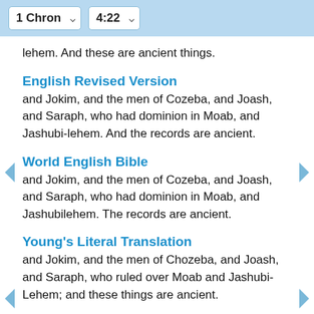1 Chron  4:22
lehem. And these are ancient things.
English Revised Version
and Jokim, and the men of Cozeba, and Joash, and Saraph, who had dominion in Moab, and Jashubi-lehem. And the records are ancient.
World English Bible
and Jokim, and the men of Cozeba, and Joash, and Saraph, who had dominion in Moab, and Jashubilehem. The records are ancient.
Young's Literal Translation
and Jokim, and the men of Chozeba, and Joash, and Saraph, who ruled over Moab and Jashubi-Lehem; and these things are ancient.
1 i Kronikave 4:22 Albanian
Jokimi dhe njerëzia e Kozebës, Joasi dhe Safari, që